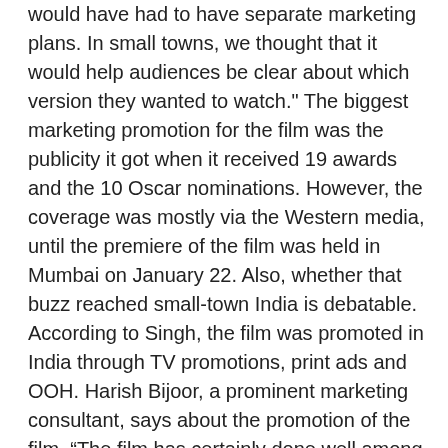would have had to have separate marketing plans. In small towns, we thought that it would help audiences be clear about which version they wanted to watch." The biggest marketing promotion for the film was the publicity it got when it received 19 awards and the 10 Oscar nominations. However, the coverage was mostly via the Western media, until the premiere of the film was held in Mumbai on January 22. Also, whether that buzz reached small-town India is debatable. According to Singh, the film was promoted in India through TV promotions, print ads and OOH. Harish Bijoor, a prominent marketing consultant, says about the promotion of the film, “The film has certainly done well among the SEC A crowd, who was really the TG. But it hasn't been marketed as well to the rest of the Hindi film audience. Also, the middle and lower socio-economic classes do not really want to see such a realistic film, because they go to the theatres to be entertained.” Bijoor adds that it is not enough to have a single promotion for the film. It should showcase the variety in the plot, because people go to watch films for different reasons. “There are aspects of cruelty, romance and triumph in the film, but that kind of verticalisation was not seen in the promos,” he says. Another